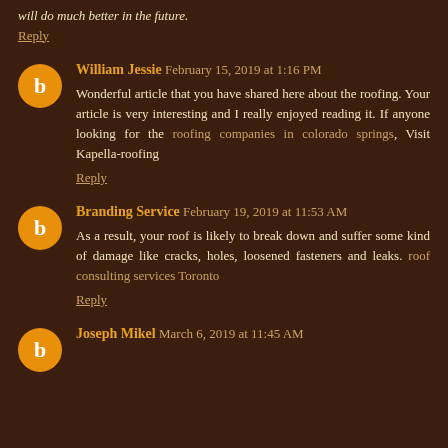will do much better in the future.
Reply
William Jessie  February 15, 2019 at 1:16 PM
Wonderful article that you have shared here about the roofing. Your article is very interesting and I really enjoyed reading it. If anyone looking for the roofing companies in colorado springs, Visit Kapella-roofing
Reply
Branding Service  February 19, 2019 at 11:53 AM
As a result, your roof is likely to break down and suffer some kind of damage like cracks, holes, loosened fasteners and leaks. roof consulting services Toronto
Reply
Joseph Mikel  March 6, 2019 at 11:45 AM